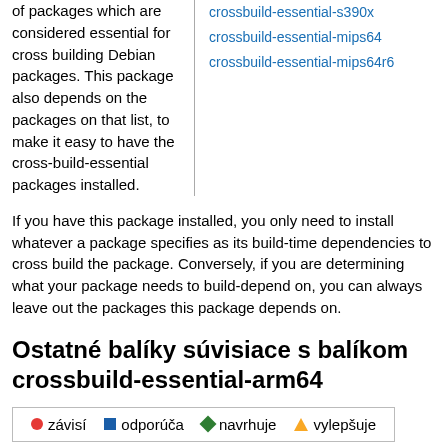of packages which are considered essential for cross building Debian packages. This package also depends on the packages on that list, to make it easy to have the cross-build-essential packages installed.
crossbuild-essential-s390x
crossbuild-essential-mips64
crossbuild-essential-mips64r6
If you have this package installed, you only need to install whatever a package specifies as its build-time dependencies to cross build the package. Conversely, if you are determining what your package needs to build-depend on, you can always leave out the packages this package depends on.
Ostatné balíky súvisiace s balíkom crossbuild-essential-arm64
závisí  odporúča  navrhuje  vylepšuje